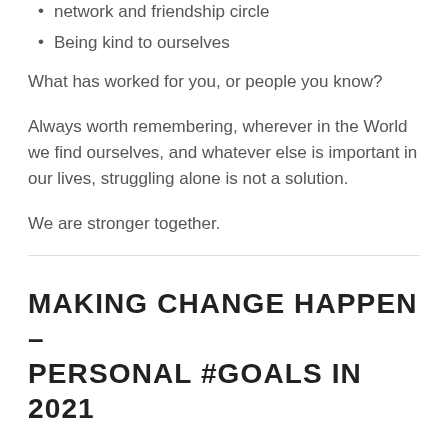network and friendship circle
Being kind to ourselves
What has worked for you, or people you know?
Always worth remembering, wherever in the World we find ourselves, and whatever else is important in our lives, struggling alone is not a solution.
We are stronger together.
MAKING CHANGE HAPPEN – PERSONAL #GOALS IN 2021
September 30, 2021   Leave a comment